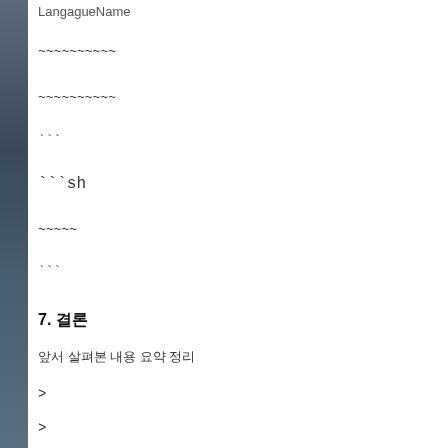LangagueName
~~~~~~~~~~
~~~~~~~~~~
```
```sh
~~~~~
```
7. 결론
앞서 살펴본 내용 요약 정리
>
>